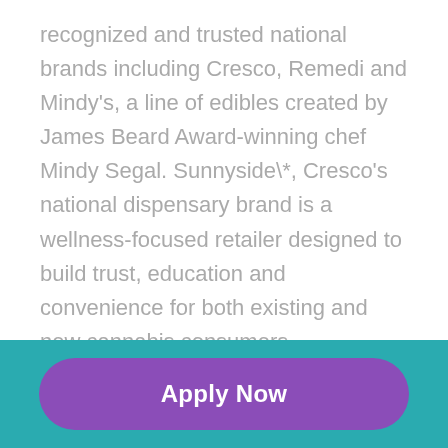recognized and trusted national brands including Cresco, Remedi and Mindy's, a line of edibles created by James Beard Award-winning chef Mindy Segal. Sunnyside\*, Cresco's national dispensary brand is a wellness-focused retailer designed to build trust, education and convenience for both existing and new cannabis consumers. Recognizing that the cannabis industry is poised to become one of the leading job creators in the country, Cresco has launched the industry's first national comprehensive Social Equity and Educational Development (SEED) initiative designed to ensure that all members of
[Figure (other): Apply Now button — a rounded purple button with white bold text 'Apply Now' on a teal background footer bar]